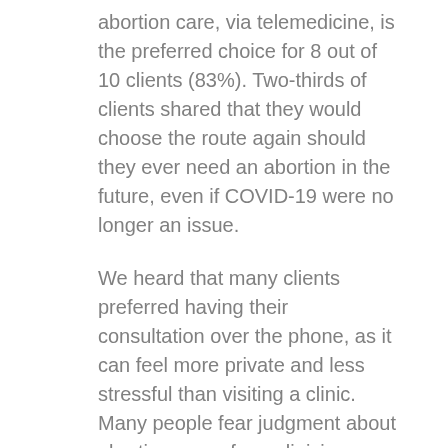abortion care, via telemedicine, is the preferred choice for 8 out of 10 clients (83%). Two-thirds of clients shared that they would choose the route again should they ever need an abortion in the future, even if COVID-19 were no longer an issue.
We heard that many clients preferred having their consultation over the phone, as it can feel more private and less stressful than visiting a clinic. Many people fear judgment about abortion, even from clinicians. The pressure is worsened by anti-abortion groups that continue to harass clients outside clinics. Many clients find it hard to leave the house without those they live with finding out why. By providing telephone consultations and medicines by post we remove these barriers. With telemedicine, clients can access confidential care in the comfort of their own homes.